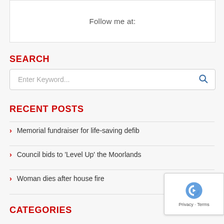Follow me at:
SEARCH
Enter Keyword...
RECENT POSTS
Memorial fundraiser for life-saving defib
Council bids to 'Level Up' the Moorlands
Woman dies after house fire
CATEGORIES